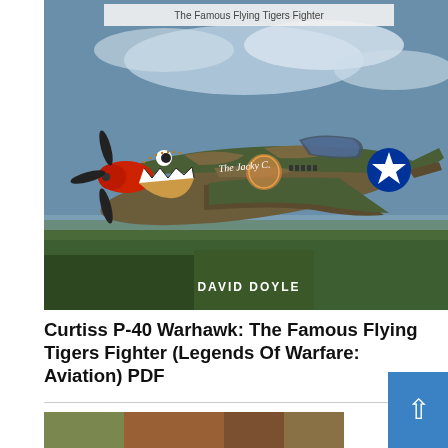[Figure (photo): Book cover photo of a Curtiss P-40 Warhawk airplane with Flying Tigers shark mouth nose art and camouflage paint scheme, flying over green landscape. Text 'The Famous Flying Tigers Fighter' at top and 'DAVID DOYLE' at bottom of cover.]
Curtiss P-40 Warhawk: The Famous Flying Tigers Fighter (Legends Of Warfare: Aviation) PDF
[Figure (photo): Partial view of another book cover with green and brown camouflage colors visible at bottom of page.]